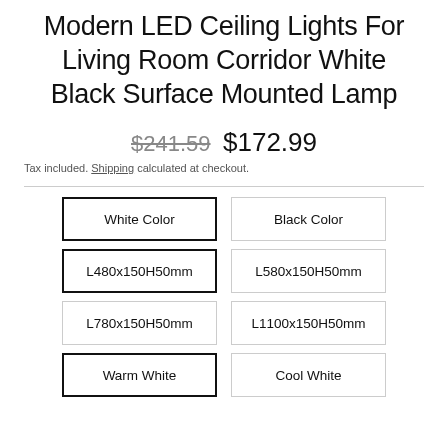Modern LED Ceiling Lights For Living Room Corridor White Black Surface Mounted Lamp
$241.59  $172.99
Tax included. Shipping calculated at checkout.
White Color | Black Color
L480x150H50mm | L580x150H50mm
L780x150H50mm | L1100x150H50mm
Warm White | Cool White